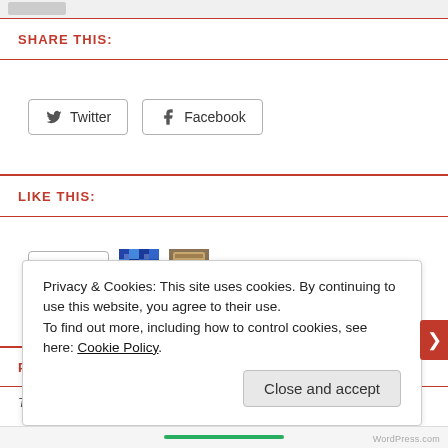SHARE THIS:
Twitter  Facebook
LIKE THIS:
Like  2 bloggers like this.
PREVIOUS
Privacy & Cookies: This site uses cookies. By continuing to use this website, you agree to their use.
To find out more, including how to control cookies, see here: Cookie Policy
Close and accept